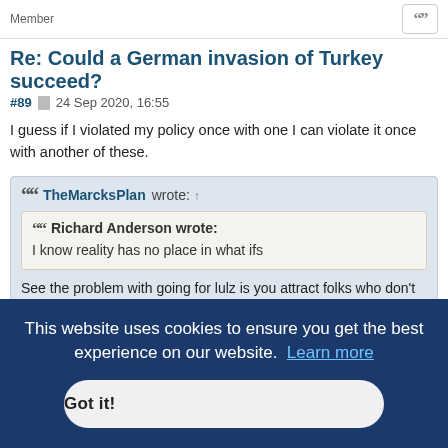Member
Re: Could a German invasion of Turkey succeed?
#89  24 Sep 2020, 16:55
I guess if I violated my policy once with one I can violate it once with another of these.
TheMarcksPlan wrote: ↑
Richard Anderson wrote:
I know reality has no place in what ifs

See the problem with going for lulz is you attract folks who don't care about the truth of the matter being discussed, and who don't think "what ifs" have any validity at all (at least he openly admits it now).
This website uses cookies to ensure you get the best experience on our website.  Learn more
Got it!
How do you divine emotions over the internet BTW? Is that method taught